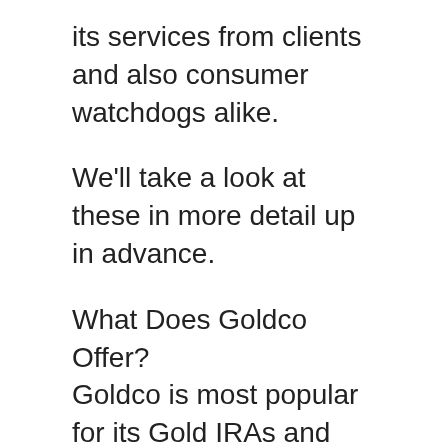its services from clients and also consumer watchdogs alike.
We'll take a look at these in more detail up in advance.
What Does Goldco Offer?
Goldco is most popular for its Gold IRAs and Silver IRAs. It additionally has taxed (non-retirement) accounts if you intend to invest in rare-earth elements beyond a retirement account.
A third and final alternative is Cryptocurrency IRAs.
Goldco precious metals accounts come with several storage space services, consumer